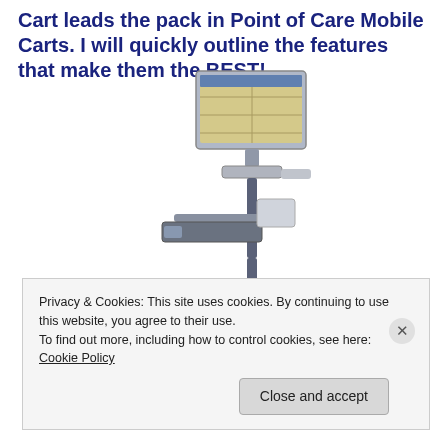Cart leads the pack in Point of Care Mobile Carts. I will quickly outline the features that make them the BEST!
[Figure (photo): A medical point-of-care mobile cart with a monitor on top, a keyboard tray, and a wheeled base — shown on white background.]
Privacy & Cookies: This site uses cookies. By continuing to use this website, you agree to their use.
To find out more, including how to control cookies, see here: Cookie Policy
Close and accept